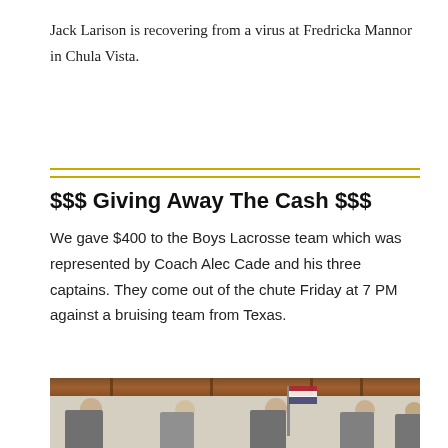Jack Larison is recovering from a virus at Fredricka Mannor in Chula Vista.
$$$ Giving Away The Cash $$$
We gave $400 to the Boys Lacrosse team which was represented by Coach Alec Cade and his three captains. They come out of the chute Friday at 7 PM against a bruising team from Texas.
[Figure (photo): Group photo of Coach Alec Cade and three lacrosse captains standing indoors in front of a wood-paneled wall with an American flag visible in the background.]